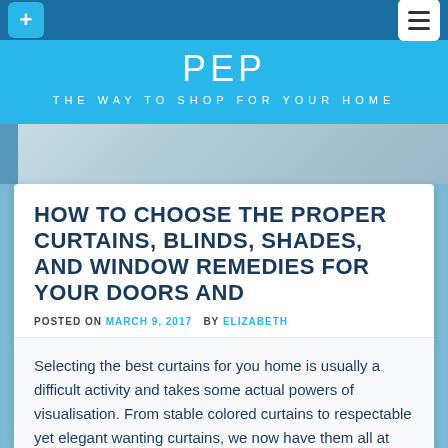PEP — THE WAY TO SHOP FOR YOUR HOME
HOW TO CHOOSE THE PROPER CURTAINS, BLINDS, SHADES, AND WINDOW REMEDIES FOR YOUR DOORS AND
POSTED ON MARCH 9, 2017 BY ELIZABETH
Selecting the best curtains for you home is usually a difficult activity and takes some actual powers of visualisation. From stable colored curtains to respectable yet elegant wanting curtains, we now have them all at